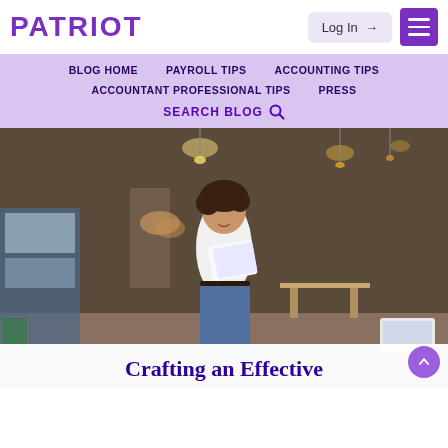PATRIOT
BLOG HOME | PAYROLL TIPS | ACCOUNTING TIPS | ACCOUNTANT PROFESSIONAL TIPS | PRESS | SEARCH BLOG
[Figure (photo): Woman smiling and holding papers/notebook in a cafe/bakery restaurant interior setting]
Crafting an Effective